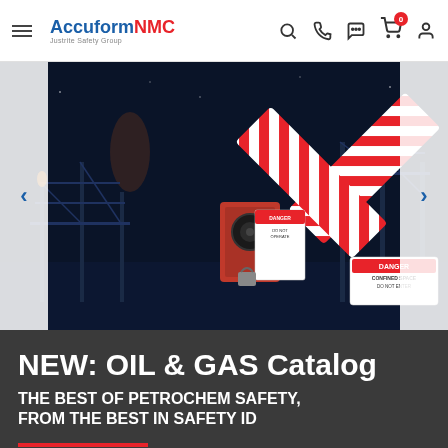AccuformNMC — Justrite Safety Group
[Figure (screenshot): Hero banner showing an offshore oil platform at night with safety signage products overlaid — including a tag dispenser, DANGER CONFINED SPACE DO NOT ENTER sign, and red/white diagonal barrier cross pattern]
NEW: OIL & GAS Catalog
THE BEST OF PETROCHEM SAFETY, FROM THE BEST IN SAFETY ID